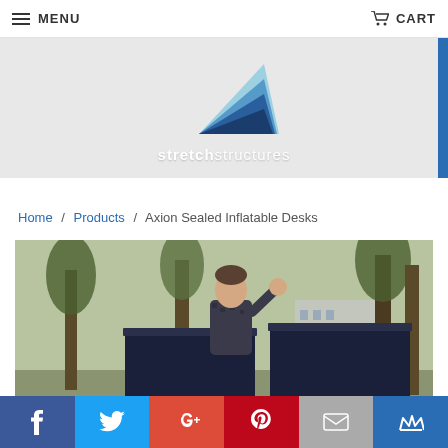MENU   CART
[Figure (logo): Stretch Structures logo with blue triangular shape and text 'stretchstructures']
Home / Products / Axion Sealed Inflatable Desks
[Figure (photo): A person standing outdoors between two large dark navy inflatable desks/structures, with trees and a building in the background]
[Figure (infographic): Social sharing bar with Facebook, Twitter, Google+, Pinterest, Email, and Crown icons]